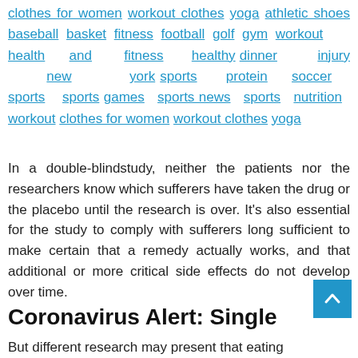clothes for women workout clothes yoga athletic shoes baseball basket fitness football golf gym workout health and fitness healthy dinner injury new york sports protein soccer sports sports games sports news sports nutrition workout clothes for women workout clothes yoga
In a double-blindstudy, neither the patients nor the researchers know which sufferers have taken the drug or the placebo until the research is over. It's also essential for the study to comply with sufferers long sufficient to make certain that a remedy actually works, and that additional or more critical side effects do not develop over time.
Coronavirus Alert: Single
But different research may present that eating